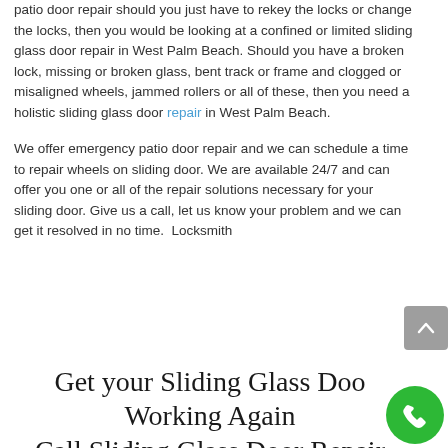patio door repair should you just have to rekey the locks or change the locks, then you would be looking at a confined or limited sliding glass door repair in West Palm Beach. Should you have a broken lock, missing or broken glass, bent track or frame and clogged or misaligned wheels, jammed rollers or all of these, then you need a holistic sliding glass door repair in West Palm Beach.
We offer emergency patio door repair and we can schedule a time to repair wheels on sliding door. We are available 24/7 and can offer you one or all of the repair solutions necessary for your sliding door. Give us a call, let us know your problem and we can get it resolved in no time.  Locksmith
Get your Sliding Glass Door Working Again
Call Sliding Glass Door Repair